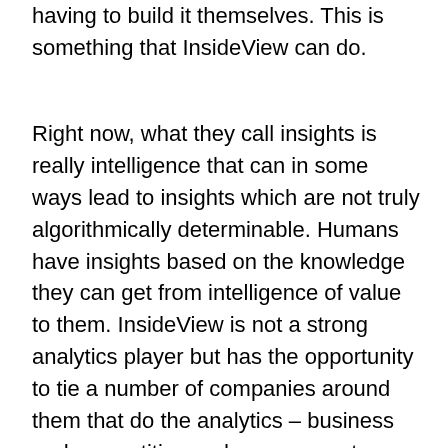having to build it themselves. This is something that InsideView can do.
Right now, what they call insights is really intelligence that can in some ways lead to insights which are not truly algorithmically determinable. Humans have insights based on the knowledge they can get from intelligence of value to them. InsideView is not a strong analytics player but has the opportunity to tie a number of companies around them that do the analytics – business and competitive and engagement analytics or do the relationship analysis (a good example of this is IntroHive). I'd be thinking seriously about this. They can monetize the model with an Analytics as a Service (AaaS) model